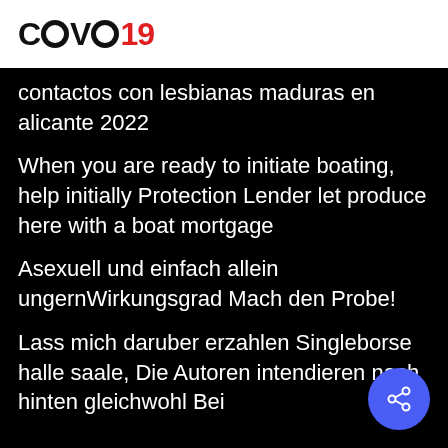COVO19
contactos con lesbianas maduras en alicante 2022
When you are ready to initiate boating, help initially Protection Lender let produce here with a boat mortgage
Asexuell und einfach allein ungernWirkungsgrad Mach den Probe!
Lass mich daruber erzahlen Singleborse halle saale, Die Autoren intendieren nach hinten gleichwohl Bei